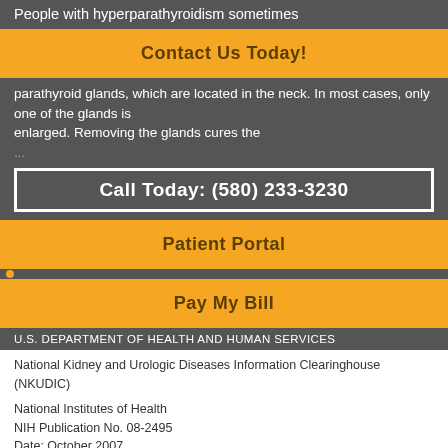People with hyperparathyroidism sometimes
Contact Us Today!
parathyroid glands, which are located in the neck. In most cases, only one of the glands is enlarged. Removing the glands cures the
Call Today: (580) 233-3230
Patient Portal
Pay My Bill
U.S. DEPARTMENT OF HEALTH AND HUMAN SERVICES
National Kidney and Urologic Diseases Information Clearinghouse (NKUDIC)
National Institutes of Health
NIH Publication No. 08-2495
Date: October 2007
AUAFoundation - The Official Foundation of the American Urological Association
NKDEP - National Kidney Disease Education Program
NKUDIC - National Kidney and Urologic Diseases Information